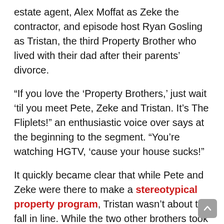estate agent, Alex Moffat as Zeke the contractor, and episode host Ryan Gosling as Tristan, the third Property Brother who lived with their dad after their parents' divorce.
“If you love the ‘Property Brothers,’ just wait ‘til you meet Pete, Zeke and Tristan. It’s The Fliplets!” an enthusiastic voice over says at the beginning to the segment. “You’re watching HGTV, ‘cause your house sucks!”
It quickly became clear that while Pete and Zeke were there to make a stereotypical property program, Tristan wasn’t about to fall in line. While the two other brothers took a trip down memory lane and reminisced about their much-loved childhood tree